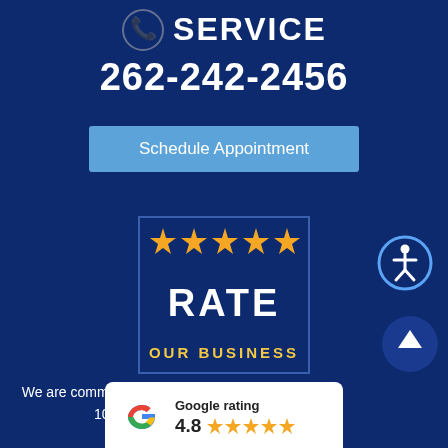SERVICE
262-242-2456
Schedule Appointment
[Figure (infographic): Rate Our Business badge with 5 gold stars and text RATE OUR BUSINESS on dark blue background with border]
[Figure (infographic): Accessibility icon: person figure in circle with blue border]
We are committed to providing superior service and 100% customer satisfaction.
[Figure (infographic): Scroll to top button: upward arrow in dark blue circle]
[Figure (infographic): Google rating card showing 4.8 with 5 gold stars and Google G logo]